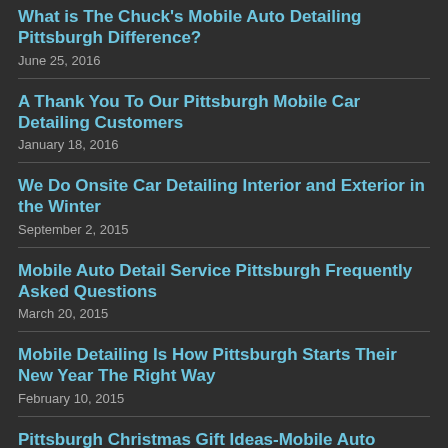What is The Chuck's Mobile Auto Detailing Pittsburgh Difference?
June 25, 2016
A Thank You To Our Pittsburgh Mobile Car Detailing Customers
January 18, 2016
We Do Onsite Car Detailing Interior and Exterior in the Winter
September 2, 2015
Mobile Auto Detail Service Pittsburgh Frequently Asked Questions
March 20, 2015
Mobile Detailing Is How Pittsburgh Starts Their New Year The Right Way
February 10, 2015
Pittsburgh Christmas Gift Ideas-Mobile Auto Detailing